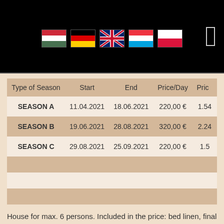[Figure (other): Five national flags: Hungary, Germany, United Kingdom, Luxembourg, Poland]
| Type of Season | Start | End | Price/Day | Price... |
| --- | --- | --- | --- | --- |
| SEASON A | 11.04.2021 | 18.06.2021 | 220,00 € | 1.54... |
| SEASON B | 19.06.2021 | 28.08.2021 | 320,00 € | 2.24... |
| SEASON C | 29.08.2021 | 25.09.2021 | 220,00 € | 1.5... |
|  |  |  |  |  |
|  |  |  |  |  |
|  |  |  |  |  |
House for max. 6 persons. Included in the price: bed linen, final cleaning, electricity, water, parking, Safe, Alarm system.